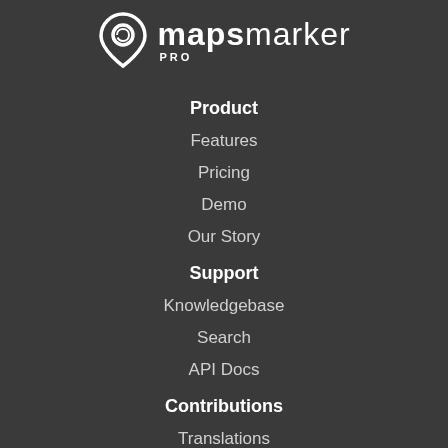[Figure (logo): MapsMarker Pro logo with pin/location icon and text 'mapsmarker PRO']
Product
Features
Pricing
Demo
Our Story
Support
Knowledgebase
Search
API Docs
Contributions
Translations